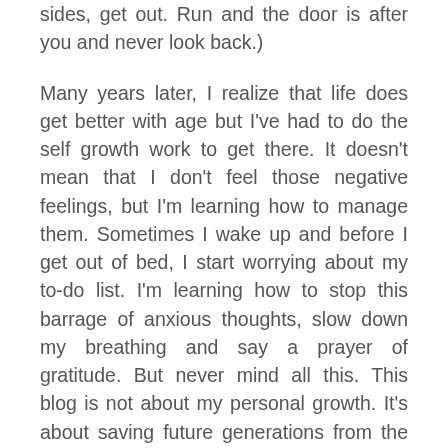sides, get out. Run and the door is after you and never look back.)
Many years later, I realize that life does get better with age but I've had to do the self growth work to get there. It doesn't mean that I don't feel those negative feelings, but I'm learning how to manage them. Sometimes I wake up and before I get out of bed, I start worrying about my to-do list. I'm learning how to stop this barrage of anxious thoughts, slow down my breathing and say a prayer of gratitude. But never mind all this. This blog is not about my personal growth. It's about saving future generations from the erroneous message, at the end of those beloved fairy